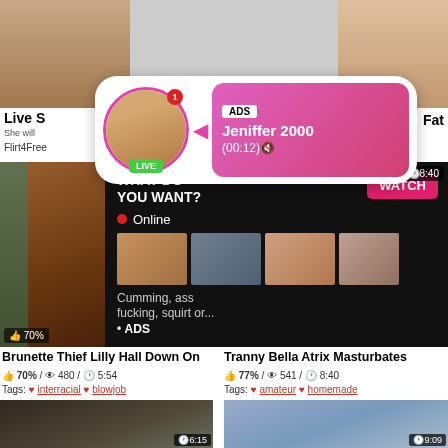[Figure (screenshot): Top banner area with video thumbnails]
Live S
She will
Flirt4Free
[Figure (infographic): Ad popup with avatar, LIVE badge, notification dot, ADS label, Jeniffer 2000, (00:12) text on pink gradient background]
[Figure (screenshot): Left video thumbnail: brunette performing oral sex]
[Figure (infographic): Right ad panel: WHAT DO YOU WANT? with WATCH button, Online indicator, three thumbnails, text: Cumming, ass fucking, squirt or... • ADS]
8:40
70%
Brunette Thief Lilly Hall Down On
Tranny Bella Atrix Masturbates
70% / 480 / 5:54
77% / 541 / 8:40
Tags: interracial blowjob
Tags: amateur homemade
[Figure (screenshot): Bottom left video thumbnail with 6:15 timer]
[Figure (screenshot): Bottom right video thumbnail with 9:09 timer]